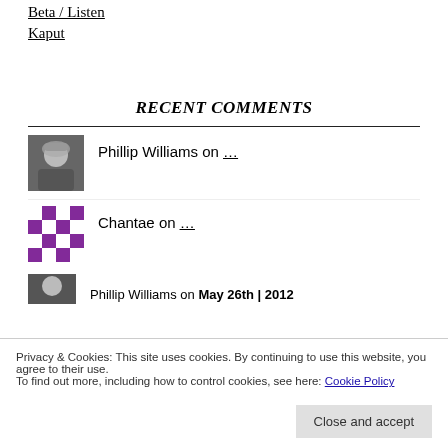Beta / Listen
Kaput
RECENT COMMENTS
Phillip Williams on …
Chantae on …
Privacy & Cookies: This site uses cookies. By continuing to use this website, you agree to their use.
To find out more, including how to control cookies, see here: Cookie Policy
Close and accept
Phillip Williams on May 26th | 2012